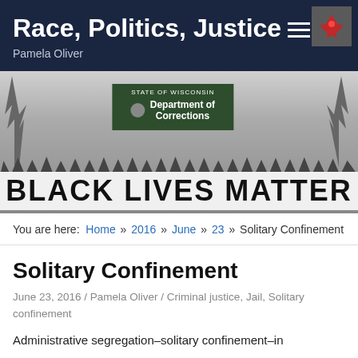Race, Politics, Justice
Pamela Oliver
[Figure (photo): Black and white photograph of protesters holding a large BLACK LIVES MATTER banner in front of a Wisconsin Department of Corrections sign]
You are here: Home » 2016 » June » 23 » Solitary Confinement
Solitary Confinement
June 23, 2016 / Pamela Oliver / Criminal justice, Jail, Solitary confinement
Administrative segregation–solitary confinement–in